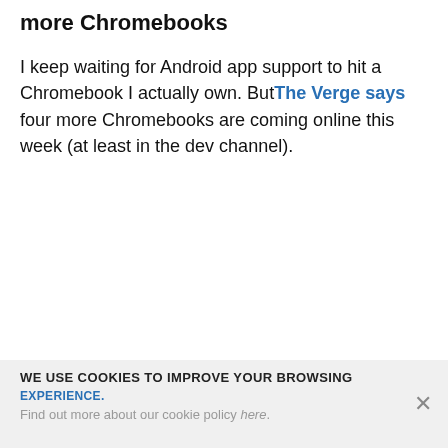more Chromebooks
I keep waiting for Android app support to hit a Chromebook I actually own. ButThe Verge says four more Chromebooks are coming online this week (at least in the dev channel).
WE USE COOKIES TO IMPROVE YOUR BROWSING EXPERIENCE. Find out more about our cookie policy here.